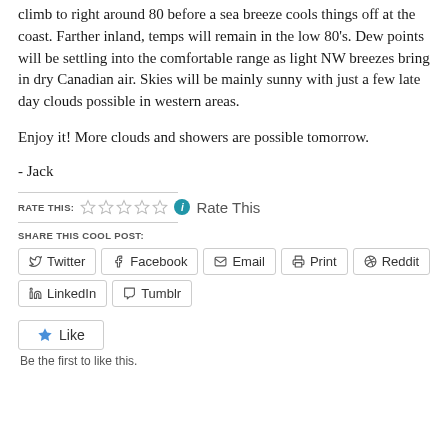climb to right around 80 before a sea breeze cools things off at the coast. Farther inland, temps will remain in the low 80's. Dew points will be settling into the comfortable range as light NW breezes bring in dry Canadian air. Skies will be mainly sunny with just a few late day clouds possible in western areas.
Enjoy it! More clouds and showers are possible tomorrow.
- Jack
RATE THIS:   ☆☆☆☆☆  ℹ  Rate This
SHARE THIS COOL POST:
Twitter  Facebook  Email  Print  Reddit  LinkedIn  Tumblr
Like
Be the first to like this.